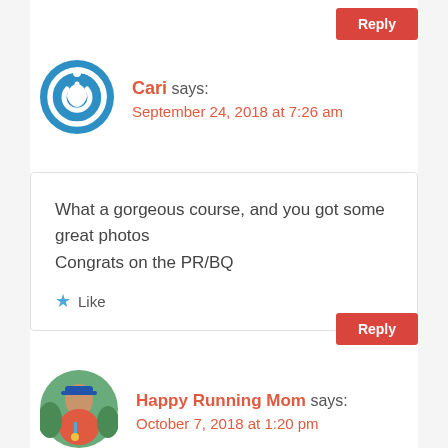[Figure (other): Red Reply button at top right]
[Figure (logo): Blue circular power button icon avatar for user Cari]
Cari says:
September 24, 2018 at 7:26 am
What a gorgeous course, and you got some great photos
Congrats on the PR/BQ
Like
[Figure (other): Red Reply button at bottom right]
[Figure (photo): Circular profile photo of Happy Running Mom]
Happy Running Mom says:
October 7, 2018 at 1:20 pm